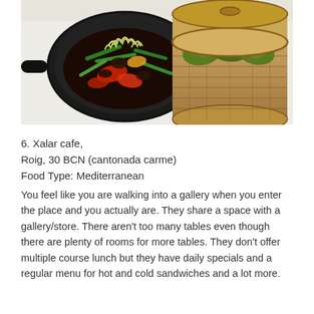[Figure (photo): Two dishes on a white table: a black pan/skillet on the left containing a stir-fry with green beans, red peppers, dark sauce and bean sprouts on top; and a bamboo steamer basket on the right containing green dumplings/dim sum.]
6. Xalar cafe,
Roig, 30 BCN (cantonada carme)
Food Type: Mediterranean
You feel like you are walking into a gallery when you enter the place and you actually are. They share a space with a gallery/store. There aren't too many tables even though there are plenty of rooms for more tables. They don't offer multiple course lunch but they have daily specials and a regular menu for hot and cold sandwiches and a lot more.